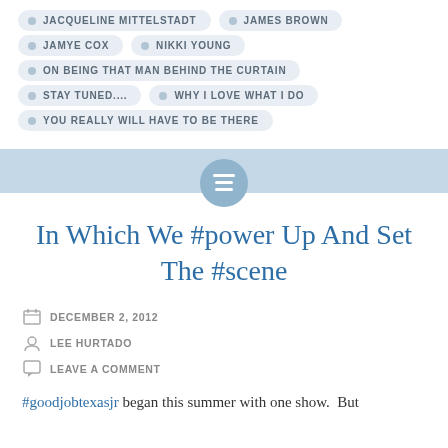JACQUELINE MITTELSTADT
JAMES BROWN
JAMYE COX
NIKKI YOUNG
ON BEING THAT MAN BEHIND THE CURTAIN
STAY TUNED....
WHY I LOVE WHAT I DO
YOU REALLY WILL HAVE TO BE THERE
In Which We #power Up And Set The #scene
DECEMBER 2, 2012
LEE HURTADO
LEAVE A COMMENT
#goodjobtexasjr began this summer with one show.  But